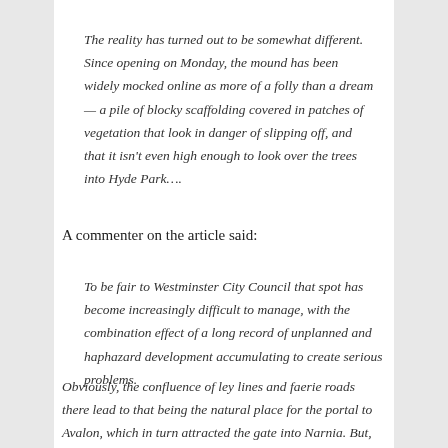The reality has turned out to be somewhat different. Since opening on Monday, the mound has been widely mocked online as more of a folly than a dream — a pile of blocky scaffolding covered in patches of vegetation that look in danger of slipping off, and that it isn't even high enough to look over the trees into Hyde Park….
A commenter on the article said:
To be fair to Westminster City Council that spot has become increasingly difficult to manage, with the combination effect of a long record of unplanned and haphazard development accumulating to create serious problems.
Obviously, the confluence of ley lines and faerie roads there lead to that being the natural place for the portal to Avalon, which in turn attracted the gate into Narnia. But, installing the secret